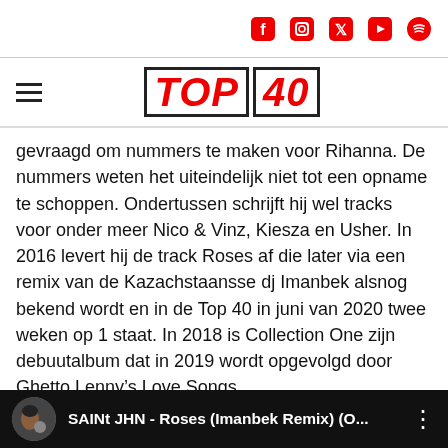[Social icons: Facebook, Instagram, Twitter, YouTube, Spotify]
TOP 40
gevraagd om nummers te maken voor Rihanna. De nummers weten het uiteindelijk niet tot een opname te schoppen. Ondertussen schrijft hij wel tracks voor onder meer Nico & Vinz, Kiesza en Usher. In 2016 levert hij de track Roses af die later via een remix van de Kazachstaansse dj Imanbek alsnog bekend wordt en in de Top 40 in juni van 2020 twee weken op 1 staat. In 2018 is Collection One zijn debuutalbum dat in 2019 wordt opgevolgd door Ghetto Lenny’s Love Songs
SAINt JHN - Roses (Imanbek Remix) (O...